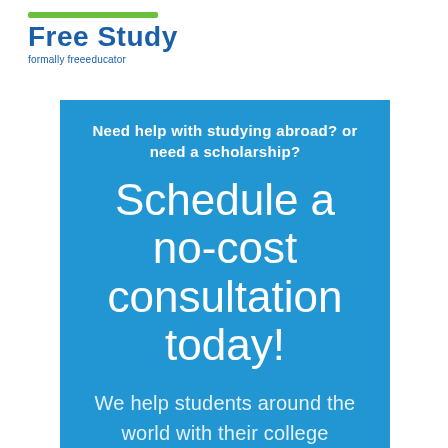Free Study formally freeeducator
Need help with studying abroad? or need a scholarship?
Schedule a no-cost consultation today!
We help students around the world with their college applications and related scholarships. With us you can apply for college admissions and